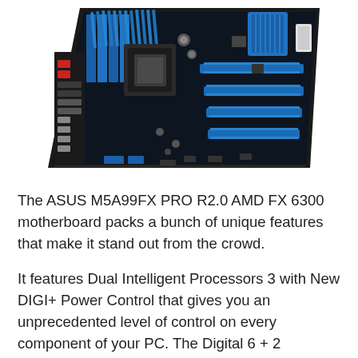[Figure (photo): Photo of ASUS M5A99FX PRO R2.0 AMD FX 6300 motherboard shown at an angle, featuring blue and black PCB with blue RAM slots, PCIe slots, heatsinks, and various connectors including USB ports in red on the back panel.]
The ASUS M5A99FX PRO R2.0 AMD FX 6300 motherboard packs a bunch of unique features that make it stand out from the crowd.
It features Dual Intelligent Processors 3 with New DIGI+ Power Control that gives you an unprecedented level of control on every component of your PC. The Digital 6 + 2